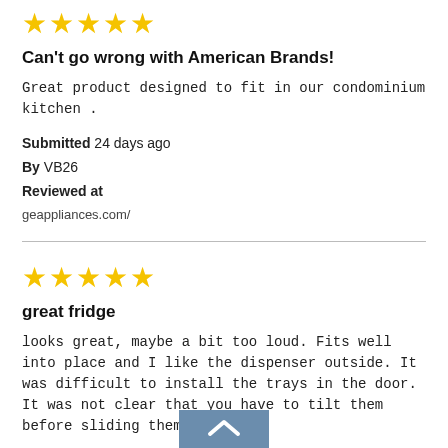[Figure (other): 5 gold stars rating]
Can't go wrong with American Brands!
Great product designed to fit in our condominium kitchen .
Submitted 24 days ago
By VB26
Reviewed at
geappliances.com/
[Figure (other): 5 gold stars rating]
great fridge
looks great, maybe a bit too loud. Fits well into place and I like the dispenser outside. It was difficult to install the trays in the door. It was not clear that you have to tilt them before sliding them in.
Submitted 24 days ago
By bobbybob
Reviewed at
geappliances.com/